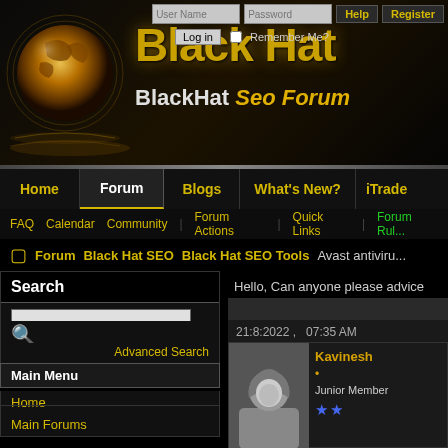[Figure (screenshot): BlackHat SEO Forum website header with globe logo, gold text 'Black Hat' and 'BlackHat Seo Forum' on dark background]
User Name | Password | Help | Register | Log in | Remember Me?
Home | Forum | Blogs | What's New? | iTrade
FAQ  Calendar  Community  Forum Actions  Quick Links  Forum Rules
Forum  Black Hat SEO  Black Hat SEO Tools  Avast antivirus
Search
Advanced Search
Main Menu
Home
Main Forums
Hello, Can anyone please advice me
21:8:2022 ,   07:35 AM
Kavinesh • Junior Member